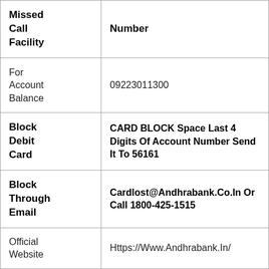| Missed Call Facility | Number |
| --- | --- |
| For Account Balance | 09223011300 |
| Block Debit Card | CARD BLOCK Space Last 4 Digits Of Account Number Send It To 56161 |
| Block Through Email | Cardlost@Andhrabank.Co.In Or Call 1800-425-1515 |
| Official Website | Https://Www.Andhrabank.In/ |